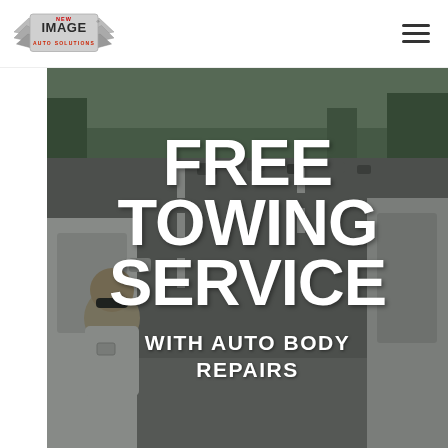[Figure (logo): New Image Auto Solutions logo with wings and shield]
[Figure (photo): Hero banner showing highway with cars and a person leaning out of a white vehicle, overlaid with white bold text reading FREE TOWING SERVICE WITH AUTO BODY REPAIRS]